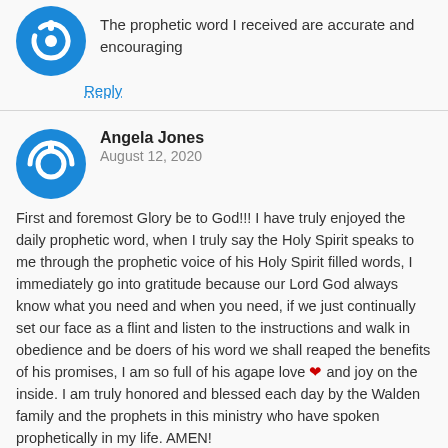The prophetic word I received are accurate and encouraging
Reply
Angela Jones
August 12, 2020
First and foremost Glory be to God!!! I have truly enjoyed the daily prophetic word, when I truly say the Holy Spirit speaks to me through the prophetic voice of his Holy Spirit filled words, I immediately go into gratitude because our Lord God always know what you need and when you need, if we just continually set our face as a flint and listen to the instructions and walk in obedience and be doers of his word we shall reaped the benefits of his promises, I am so full of his agape love ❤ and joy on the inside. I am truly honored and blessed each day by the Walden family and the prophets in this ministry who have spoken prophetically in my life. AMEN!
Reply
Jennifer Ricketts
August 11, 2020